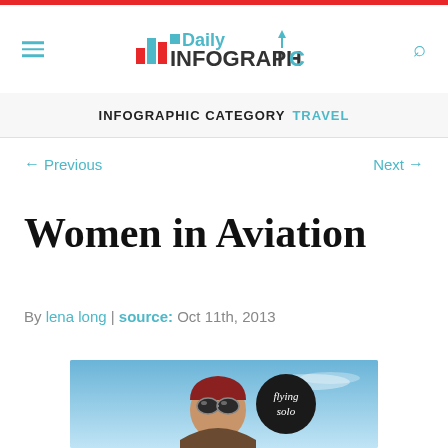Daily Infographic
INFOGRAPHIC CATEGORY TRAVEL
← Previous   Next →
Women in Aviation
By lena long | source: Oct 11th, 2013
[Figure (infographic): Women in Aviation infographic preview showing a pilot with headgear against a blue sky background, with a 'flying solo' circular badge overlay]